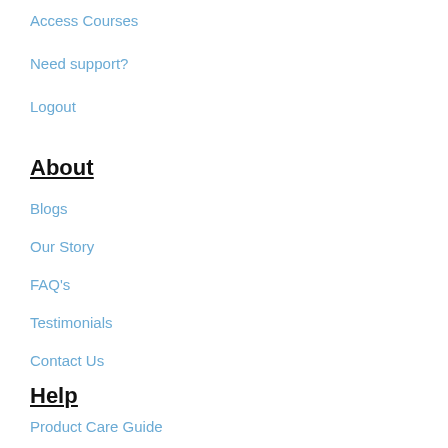Access Courses
Need support?
Logout
About
Blogs
Our Story
FAQ's
Testimonials
Contact Us
Help
Product Care Guide
Delivery Information
Crystal Disclaimer
T&C's, Returns, Cookie Policy
Name *